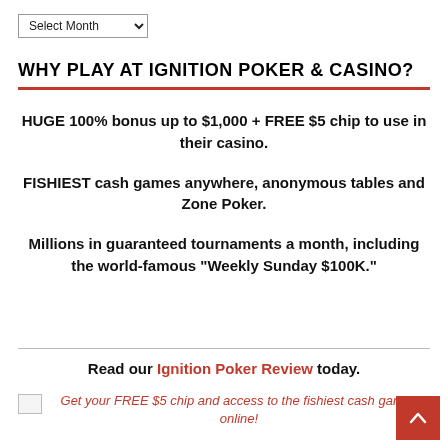Select Month
WHY PLAY AT IGNITION POKER & CASINO?
HUGE 100% bonus up to $1,000 + FREE $5 chip to use in their casino.
FISHIEST cash games anywhere, anonymous tables and Zone Poker.
Millions in guaranteed tournaments a month, including the world-famous "Weekly Sunday $100K."
Read our Ignition Poker Review today.
Get your FREE $5 chip and access to the fishiest cash games online!